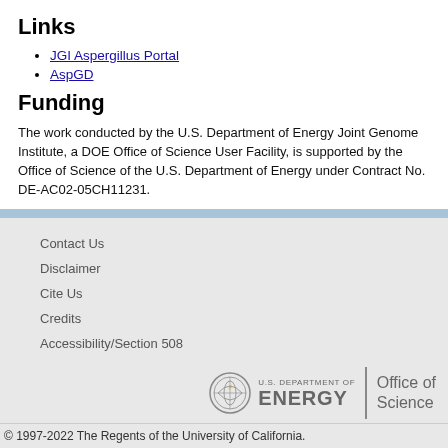Links
JGI Aspergillus Portal
AspGD
Funding
The work conducted by the U.S. Department of Energy Joint Genome Institute, a DOE Office of Science User Facility, is supported by the Office of Science of the U.S. Department of Energy under Contract No. DE-AC02-05CH11231.
Contact Us
Disclaimer
Cite Us
Credits
Accessibility/Section 508
[Figure (logo): U.S. Department of Energy Office of Science logo]
© 1997-2022 The Regents of the University of California.
Mycocosm Portal version:17.88 myco-web-4.jgi.lbl.gov Release Date:08-Aug-2022 18:30:43 PST Current Date:18-Aug-2022 14:21:02.109 PDT